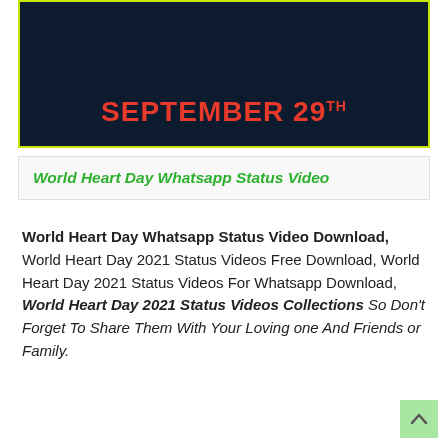[Figure (illustration): Dark navy banner with yellow-green border showing 'SEPTEMBER 29TH' in bold red text, with a partial heart day logo at the top]
World Heart Day Whatsapp Status Video
World Heart Day Whatsapp Status Video Download, World Heart Day 2021 Status Videos Free Download, World Heart Day 2021 Status Videos For Whatsapp Download, World Heart Day 2021 Status Videos Collections So Don't Forget To Share Them With Your Loving one And Friends or Family.